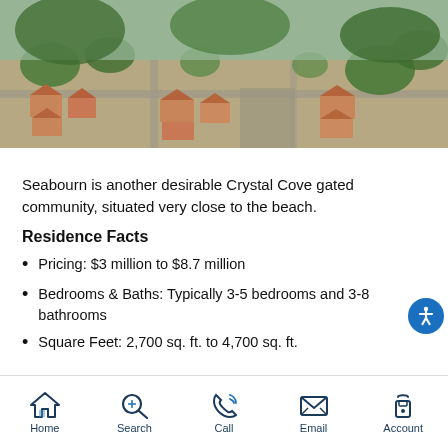[Figure (photo): Aerial view of Crystal Cove gated community showing residential homes with terracotta roofs surrounded by trees and greenery]
Seabourn is another desirable Crystal Cove gated community, situated very close to the beach.
Residence Facts
Pricing: $3 million to $8.7 million
Bedrooms & Baths: Typically 3-5 bedrooms and 3-8 bathrooms
Square Feet: 2,700 sq. ft. to 4,700 sq. ft.
Home | Search | Call | Email | Account